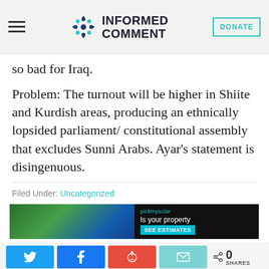Informed Comment
so bad for Iraq.
Problem: The turnout will be higher in Shiite and Kurdish areas, producing an ethnically lopsided parliament/constitutional assembly that excludes Sunni Arabs. Ayar's statement is disingenuous.
Filed Under: Uncategorized
[Figure (screenshot): pickmysolar advertisement banner — 'Is your property' with 'SEE ESTIMATES' button]
[Figure (infographic): Social share buttons: Twitter, Facebook, Reddit, Email, and share count showing 0 SHARES]